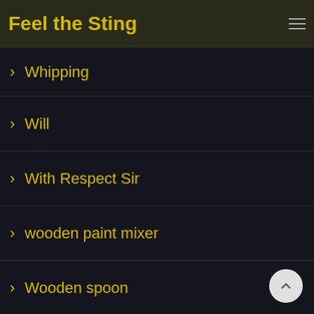Feel the Sting
Whipping
Will
With Respect Sir
wooden paint mixer
Wooden spoon
Woodland Spanking
Woodland Vandals
Workshy
Xander Holister
Xander Hollister
You've Been Warned
You've Bin Caught